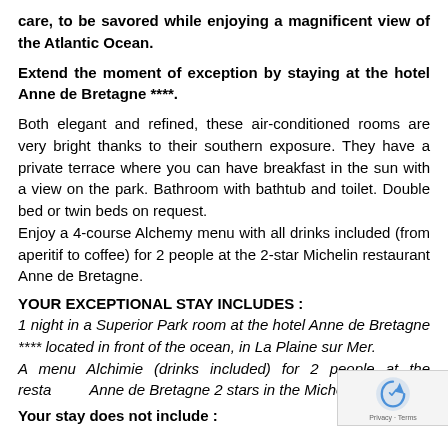care, to be savored while enjoying a magnificent view of the Atlantic Ocean.
Extend the moment of exception by staying at the hotel Anne de Bretagne ****.
Both elegant and refined, these air-conditioned rooms are very bright thanks to their southern exposure. They have a private terrace where you can have breakfast in the sun with a view on the park. Bathroom with bathtub and toilet. Double bed or twin beds on request.
Enjoy a 4-course Alchemy menu with all drinks included (from aperitif to coffee) for 2 people at the 2-star Michelin restaurant Anne de Bretagne.
YOUR EXCEPTIONAL STAY INCLUDES :
1 night in a Superior Park room at the hotel Anne de Bretagne **** located in front of the ocean, in La Plaine sur Mer.
A menu Alchimie (drinks included) for 2 people at the restaurant Anne de Bretagne 2 stars in the Michelin Guide.
Your stay does not include :